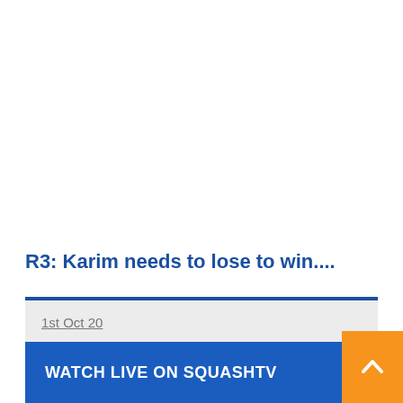R3: Karim needs to lose to win....
1st Oct 20
WATCH LIVE ON SQUASHTV